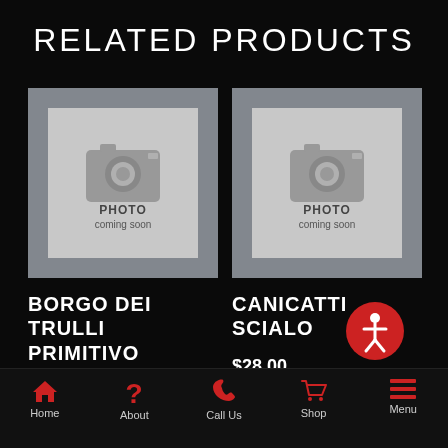RELATED PRODUCTS
[Figure (photo): Photo placeholder with camera icon, text 'PHOTO coming soon' — product 1 (Borgo Dei Trulli Primitivo Di Manduria)]
[Figure (photo): Photo placeholder with camera icon, text 'PHOTO coming soon' — product 2 (Canicatti Scialo)]
BORGO DEI TRULLI PRIMITIVO DI MANDURIA
CANICATTI SCIALO
$28.00
[Figure (illustration): Red circular accessibility icon with person/human figure symbol]
Home   About   Call Us   Shop   Menu